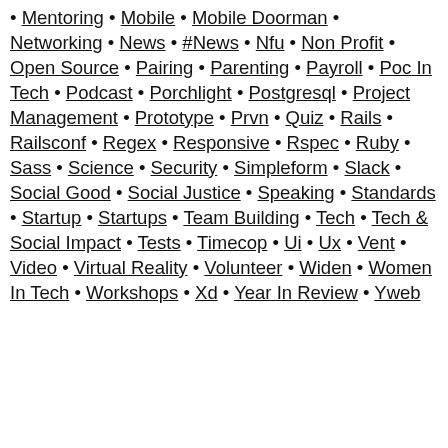• Mentoring • Mobile • Mobile Doorman • Networking • News • #News • Nfu • Non Profit • Open Source • Pairing • Parenting • Payroll • Poc In Tech • Podcast • Porchlight • Postgresql • Project Management • Prototype • Prvn • Quiz • Rails • Railsconf • Regex • Responsive • Rspec • Ruby • Sass • Science • Security • Simpleform • Slack • Social Good • Social Justice • Speaking • Standards • Startup • Startups • Team Building • Tech • Tech & Social Impact • Tests • Timecop • Ui • Ux • Vent • Video • Virtual Reality • Volunteer • Widen • Women In Tech • Workshops • Xd • Year In Review • Yweb